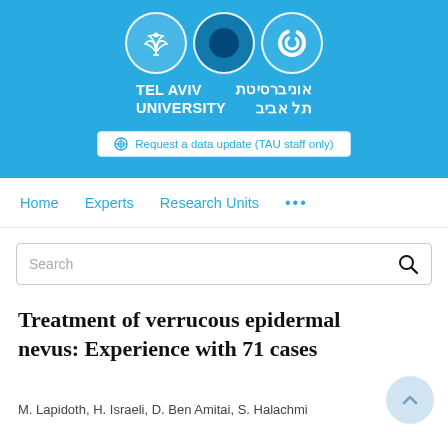[Figure (logo): Tel Aviv University logo banner with three circles (leaf emblem, solid circle, ring pattern) and bilingual text 'TEL AVIV UNIVERSITY / אוניברסיטת תל אביב' on blue background]
Request a data update (TAU staff only)
Home   Experts   Research Units   ...
Search
Treatment of verrucous epidermal nevus: Experience with 71 cases
M. Lapidoth, H. Israeli, D. Ben Amitai, S. Halachmi